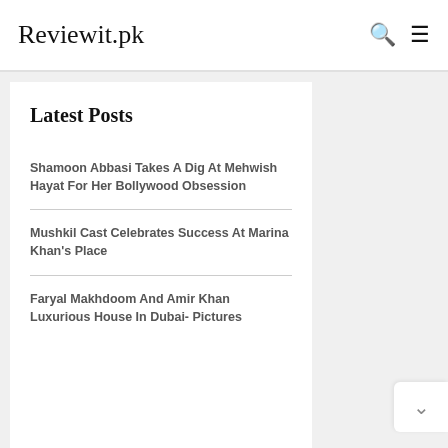Reviewit.pk
Latest Posts
Shamoon Abbasi Takes A Dig At Mehwish Hayat For Her Bollywood Obsession
Mushkil Cast Celebrates Success At Marina Khan's Place
Faryal Makhdoom And Amir Khan Luxurious House In Dubai- Pictures